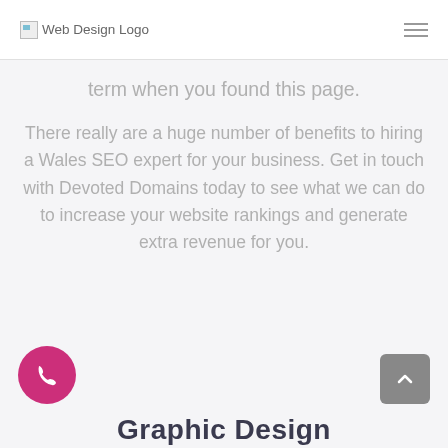Web Design Logo
term when you found this page.
There really are a huge number of benefits to hiring a Wales SEO expert for your business. Get in touch with Devoted Domains today to see what we can do to increase your website rankings and generate extra revenue for you.
Graphic Design